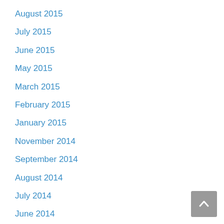August 2015
July 2015
June 2015
May 2015
March 2015
February 2015
January 2015
November 2014
September 2014
August 2014
July 2014
June 2014
May 2014
April 2014